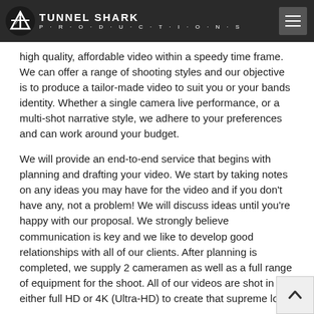[Figure (logo): Tunnel Shark Productions logo — circular icon with stylized T on dark background, with text TUNNEL SHARK and PRODUCTIONS below]
high quality, affordable video within a speedy time frame. We can offer a range of shooting styles and our objective is to produce a tailor-made video to suit you or your bands identity. Whether a single camera live performance, or a multi-shot narrative style, we adhere to your preferences and can work around your budget.
We will provide an end-to-end service that begins with planning and drafting your video. We start by taking notes on any ideas you may have for the video and if you don't have any, not a problem! We will discuss ideas until you're happy with our proposal. We strongly believe communication is key and we like to develop good relationships with all of our clients. After planning is completed, we supply 2 cameramen as well as a full range of equipment for the shoot. All of our videos are shot in either full HD or 4K (Ultra-HD) to create that supreme look.
Post-production is generally when the magic happens. This is the stage we bring your project to life. We begin by editing together a rough cut which we will send to you for review. This is your chance to tell us to take out any shots you don't